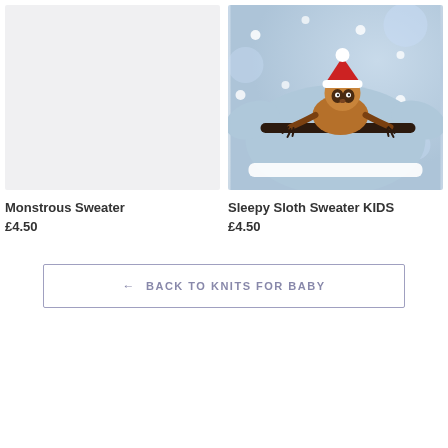[Figure (photo): Placeholder light gray image for Monstrous Sweater product]
[Figure (photo): Photo of a light blue knitted Christmas sweater for kids featuring a sloth wearing a Santa hat hanging on a branch, with white polka dots on the sweater, displayed on a mannequin]
Monstrous Sweater
£4.50
Sleepy Sloth Sweater KIDS
£4.50
← BACK TO KNITS FOR BABY